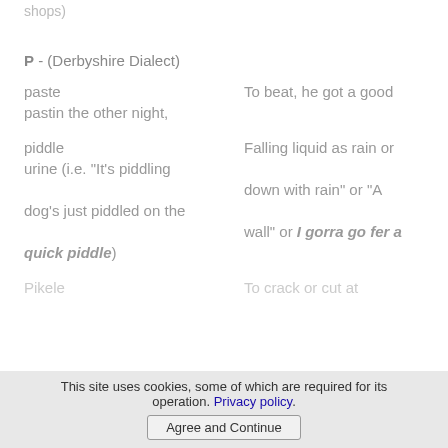shops)
P - (Derbyshire Dialect)
paste
pastin the other night,	To beat, he got a good
piddle
urine (i.e. "It's piddling	Falling liquid as rain or
	down with rain" or "A dog's just piddled on the
	wall" or I gorra go fer a quick piddle)
Pikele	To crack or cut at
This site uses cookies, some of which are required for its operation. Privacy policy
Agree and Continue